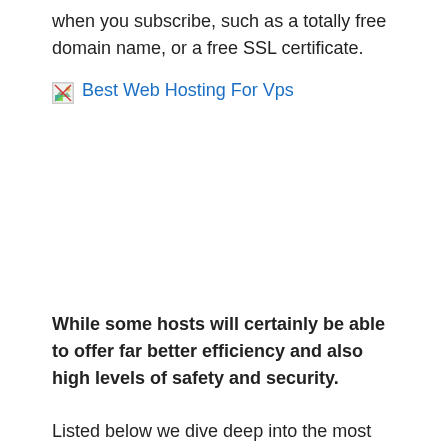when you subscribe, such as a totally free domain name, or a free SSL certificate.
[Figure (photo): Broken image placeholder with alt text 'Best Web Hosting For Vps' shown in blue]
While some hosts will certainly be able to offer far better efficiency and also high levels of safety and security.
Listed below we dive deep into the most effective inexpensive webhosting plans out there. You'll learn what core organizing functions are vital in a host and just how to assess your very own hosting requirements so that you can pick from one of the